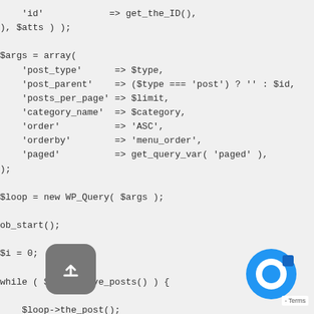'id'            => get_the_ID(),
), $atts ) );

$args = array(
    'post_type'      => $type,
    'post_parent'    => ($type === 'post') ? '' : $id,
    'posts_per_page' => $limit,
    'category_name'  => $category,
    'order'          => 'ASC',
    'orderby'        => 'menu_order',
    'paged'          => get_query_var( 'paged' ),
);

$loop = new WP_Query( $args );

ob_start();

$i = 0;

while ( $loop->have_posts() ) {

    $loop->the_post();